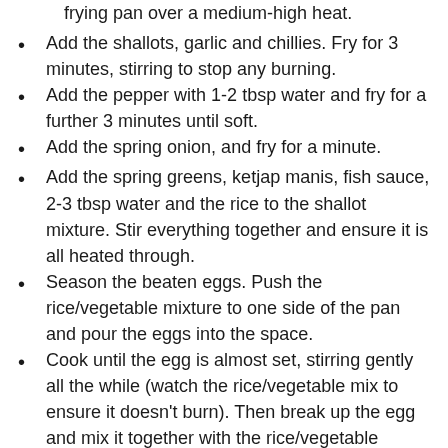Meanwhile, heat about a tbsp of oil in a very large wok or frying pan over a medium-high heat.
Add the shallots, garlic and chillies. Fry for 3 minutes, stirring to stop any burning.
Add the pepper with 1-2 tbsp water and fry for a further 3 minutes until soft.
Add the spring onion, and fry for a minute.
Add the spring greens, ketjap manis, fish sauce, 2-3 tbsp water and the rice to the shallot mixture. Stir everything together and ensure it is all heated through.
Season the beaten eggs. Push the rice/vegetable mixture to one side of the pan and pour the eggs into the space.
Cook until the egg is almost set, stirring gently all the while (watch the rice/vegetable mix to ensure it doesn’t burn). Then break up the egg and mix it together with the rice/vegetable mixture.
Stir in the fried chicken.
Serve in bowls, sprinkled with the cashews and coriander